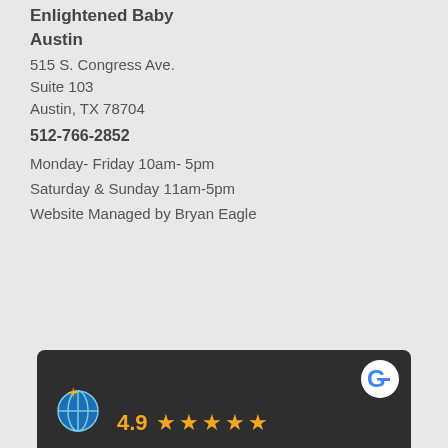Enlightened Baby
Austin
515 S. Congress Ave.
Suite 103
Austin, TX 78704
512-766-2852
Monday- Friday 10am- 5pm
Saturday & Sunday 11am-5pm
Website Managed by Bryan Eagle
[Figure (screenshot): Google review widget on dark background showing 4.9 star rating with 5 orange stars and a Google logo icon, with a globe/baby logo on the left.]